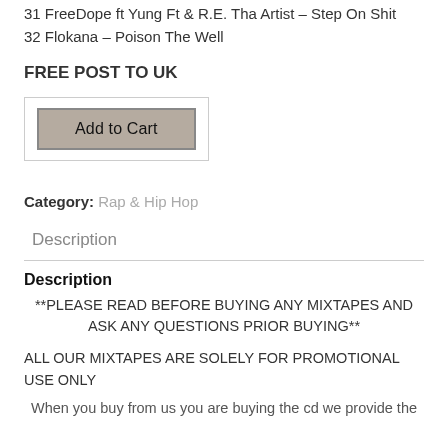31 FreeDope ft Yung Ft & R.E. Tha Artist – Step On Shit
32 Flokana – Poison The Well
FREE POST TO UK
[Figure (other): Add to Cart button inside a bordered box]
Category: Rap & Hip Hop
Description
Description
**PLEASE READ BEFORE BUYING ANY MIXTAPES AND ASK ANY QUESTIONS PRIOR BUYING**
ALL OUR MIXTAPES ARE SOLELY FOR PROMOTIONAL USE ONLY
When you buy from us you are buying the cd we provide the